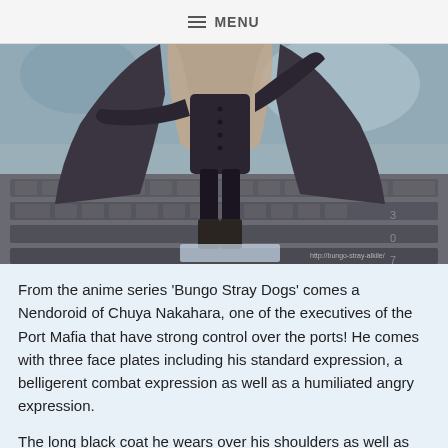≡ MENU
[Figure (photo): Close-up photo of a Nendoroid figure of Chuya Nakahara from Bungo Stray Dogs, standing on a keyboard. The figure wears a long black coat and dark clothing.]
From the anime series 'Bungo Stray Dogs' comes a Nendoroid of Chuya Nakahara, one of the executives of the Port Mafia that have strong control over the ports! He comes with three face plates including his standard expression, a belligerent combat expression as well as a humiliated angry expression.
The long black coat he wears over his shoulders as well as his hat can both be removed for different posing options.